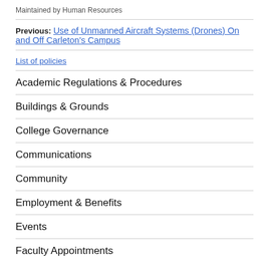Maintained by Human Resources
Previous: Use of Unmanned Aircraft Systems (Drones) On and Off Carleton's Campus
List of policies
Academic Regulations & Procedures
Buildings & Grounds
College Governance
Communications
Community
Employment & Benefits
Events
Faculty Appointments